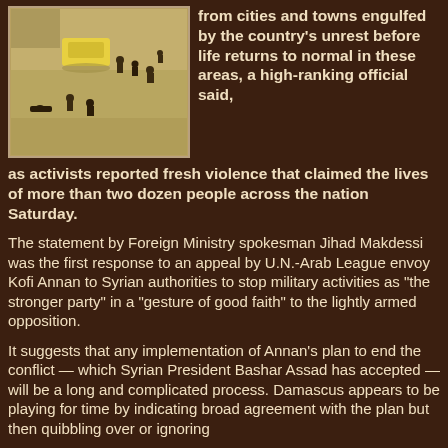[Figure (photo): Aerial view of a street scene showing a yellow car, several people, and what appears to be a conflict/unrest situation, viewed from above. The image has a grainy, low-resolution quality.]
from cities and towns engulfed by the country's unrest before life returns to normal in these areas, a high-ranking official said, as activists reported fresh violence that claimed the lives of more than two dozen people across the nation Saturday.
The statement by Foreign Ministry spokesman Jihad Makdessi was the first response to an appeal by U.N.-Arab League envoy Kofi Annan to Syrian authorities to stop military activities as "the stronger party" in a "gesture of good faith" to the lightly armed opposition.
It suggests that any implementation of Annan's plan to end the conflict — which Syrian President Bashar Assad has accepted — will be a long and complicated process. Damascus appears to be playing for time by indicating broad agreement with the plan but then quibbling over or ignoring